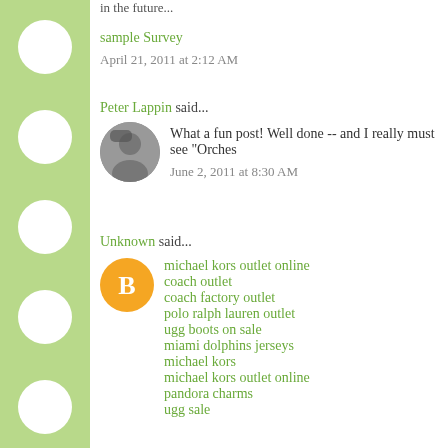in the future...
sample Survey
April 21, 2011 at 2:12 AM
Peter Lappin said...
What a fun post! Well done -- and I really must see "Orches
June 2, 2011 at 8:30 AM
Unknown said...
michael kors outlet online
coach outlet
coach factory outlet
polo ralph lauren outlet
ugg boots on sale
miami dolphins jerseys
michael kors
michael kors outlet online
pandora charms
ugg sale